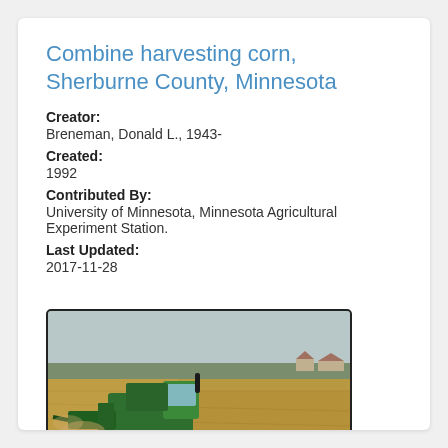Combine harvesting corn, Sherburne County, Minnesota
Creator:
Breneman, Donald L., 1943-
Created:
1992
Contributed By:
University of Minnesota, Minnesota Agricultural Experiment Station.
Last Updated:
2017-11-28
[Figure (photo): A green combine harvester working in a large golden grain field under an overcast sky, viewed from a slight distance showing the open farmland landscape.]